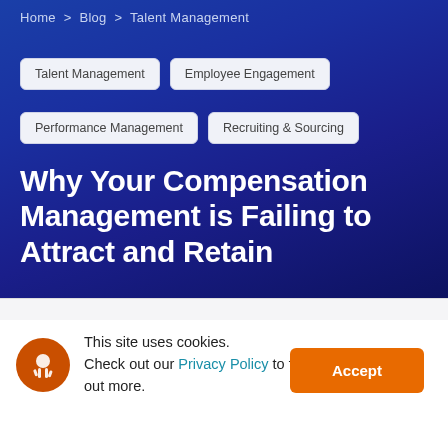Home > Blog > Talent Management
Talent Management
Employee Engagement
Performance Management
Recruiting & Sourcing
Why Your Compensation Management is Failing to Attract and Retain
This site uses cookies. Check out our Privacy Policy to find out more.